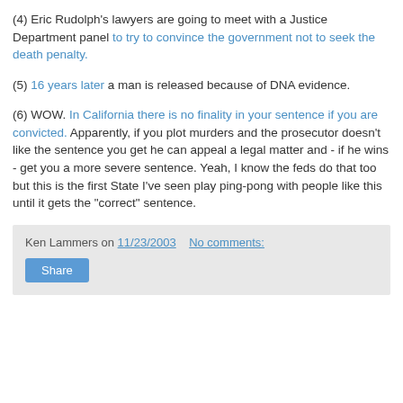(4) Eric Rudolph's lawyers are going to meet with a Justice Department panel to try to convince the government not to seek the death penalty.
(5) 16 years later a man is released because of DNA evidence.
(6) WOW. In California there is no finality in your sentence if you are convicted. Apparently, if you plot murders and the prosecutor doesn't like the sentence you get he can appeal a legal matter and - if he wins - get you a more severe sentence. Yeah, I know the feds do that too but this is the first State I've seen play ping-pong with people like this until it gets the "correct" sentence.
Ken Lammers on 11/23/2003   No comments: